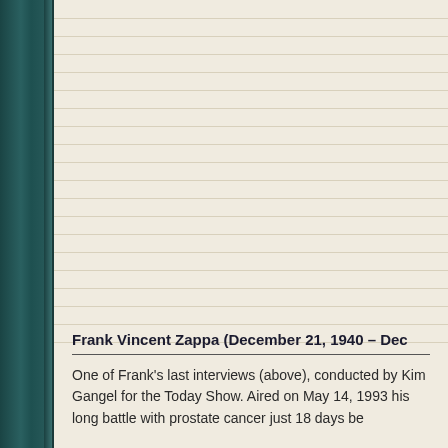Frank Vincent Zappa (December 21, 1940 – Dec...
One of Frank's last interviews (above), conducted by Kim Gangel for the Today Show. Aired on May 14, 1993 his long battle with prostate cancer just 18 days be...